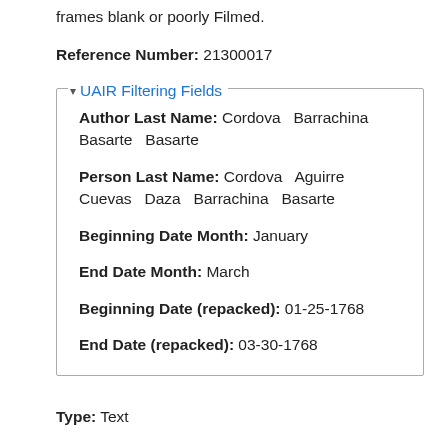frames blank or poorly Filmed.
Reference Number: 21300017
UAIR Filtering Fields
Author Last Name: Cordova Barrachina Basarte Basarte
Person Last Name: Cordova Aguirre Cuevas Daza Barrachina Basarte
Beginning Date Month: January
End Date Month: March
Beginning Date (repacked): 01-25-1768
End Date (repacked): 03-30-1768
Type: Text